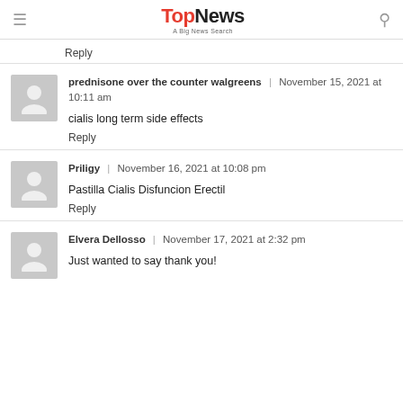TopNews — A Big News Search
Reply
prednisone over the counter walgreens | November 15, 2021 at 10:11 am
cialis long term side effects
Reply
Priligy | November 16, 2021 at 10:08 pm
Pastilla Cialis Disfuncion Erectil
Reply
Elvera Dellosso | November 17, 2021 at 2:32 pm
Just wanted to say thank you!